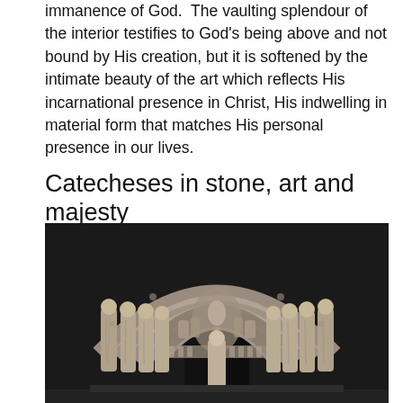immanence of God.  The vaulting splendour of the interior testifies to God's being above and not bound by His creation, but it is softened by the intimate beauty of the art which reflects His incarnational presence in Christ, His indwelling in material form that matches His personal presence in our lives.
Catecheses in stone, art and majesty
[Figure (photo): Black and white photograph of a Gothic cathedral portal, showing elaborate stone carvings, arched tympanum with religious figures, column statues of saints/apostles on either side of the central doorway, and intricate decorative stonework in the archivolt.]